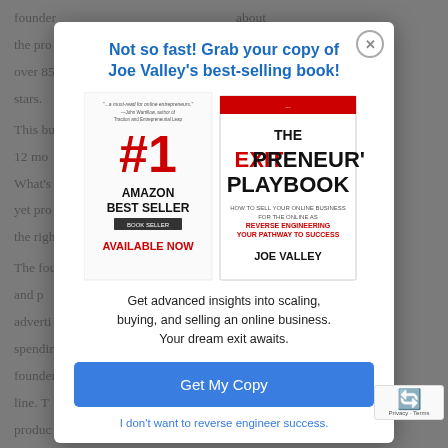founder ... about the pro... nd has over 85... of 4.5 stars. This bu... he last 12 mo... year. What's... is not yet pro... er with the righ... The fou... growth and p... total adverti... on ad spendin... d. The founder... line. T... produc... as this
Not so fast! Grab your copy of Joe Valley's best-selling book!
[Figure (photo): Book cover of 'The Exitpreneur's Playbook' by Joe Valley, shown as Amazon #1 Best Seller, Available Now]
Get advanced insights into scaling, buying, and selling an online business. Your dream exit awaits.
Get My Copy
I don't want to reverse engineer success.